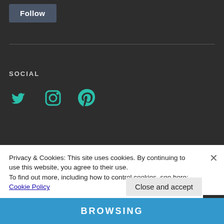Follow
SOCIAL
[Figure (illustration): Three social media icons: Twitter bird, Instagram camera, Pinterest P — all in teal/green color on dark background]
TAGS
Advertisements
Aesthetics
Art
Books
Design
Privacy & Cookies: This site uses cookies. By continuing to use this website, you agree to their use.
To find out more, including how to control cookies, see here: Cookie Policy
Close and accept